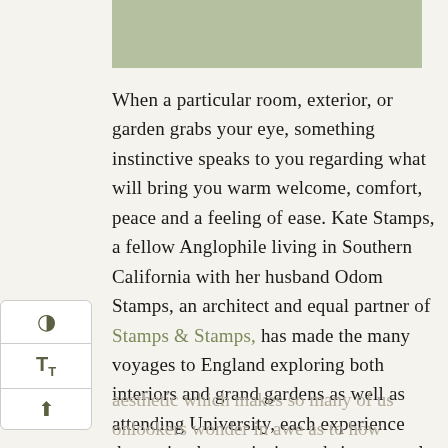[Figure (other): Sage green rectangular box at top of page]
When a particular room, exterior, or garden grabs your eye, something instinctive speaks to you regarding what will bring you warm welcome, comfort, peace and a feeling of ease. Kate Stamps, a fellow Anglophile living in Southern California with her husband Odom Stamps, an architect and equal partner of Stamps & Stamps, has made the many voyages to England exploring both interiors and grand gardens as well as attending University, each experience deepening her curiosity and sincere zeal for an aesthetic which makes so many of us onlookers wonder in awe as to how English interiors bring...
[Figure (other): Sidebar UI panel with contrast, font size, and scroll-to-top icons]